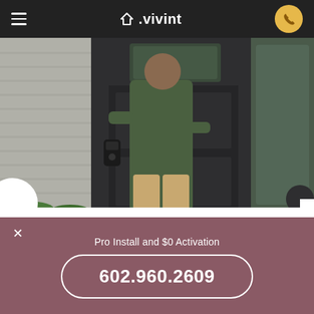vivint
[Figure (photo): Man viewed from behind unlocking or using a smart lock on a dark front door of a home with shingle siding and glass windows]
Industry-leading smart home technology in Rio Rico, with Vivint
Pro Install and $0 Activation
602.960.2609